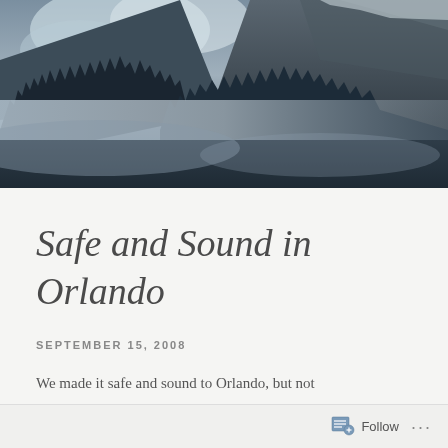[Figure (photo): Moody mountain landscape with snow-dusted peaks, dark evergreen pine trees in fog, misty atmospheric scene with dramatic cloudy sky in blue-grey tones]
Safe and Sound in Orlando
SEPTEMBER 15, 2008
We made it safe and sound to Orlando, but not
Follow ...